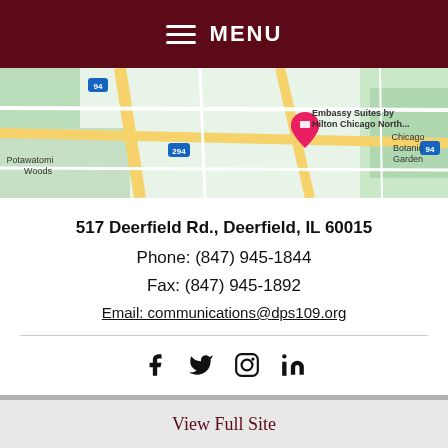MENU
[Figure (map): Google Maps showing Embassy Suites by Hilton Chicago North with surrounding area including Potawatomi Woods and Chicago Botanic Garden, near I-94 and I-294 interchange]
517 Deerfield Rd., Deerfield, IL 60015
Phone: (847) 945-1844
Fax: (847) 945-1892
Email: communications@dps109.org
[Figure (infographic): Social media icons: Facebook, Twitter, Instagram, LinkedIn]
View Full Site